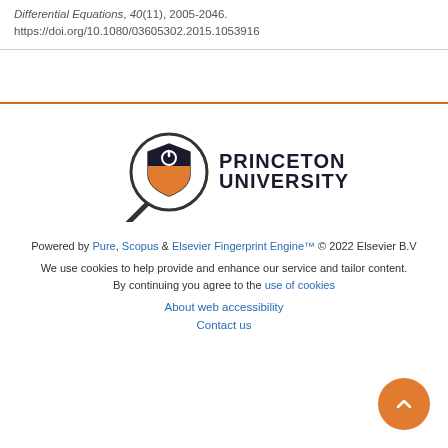Differential Equations, 40(11), 2005-2046. https://doi.org/10.1080/03605302.2015.1053916
[Figure (logo): Princeton University logo with magnifying glass icon and shield emblem]
Powered by Pure, Scopus & Elsevier Fingerprint Engine™ © 2022 Elsevier B.V
We use cookies to help provide and enhance our service and tailor content. By continuing you agree to the use of cookies
About web accessibility
Contact us